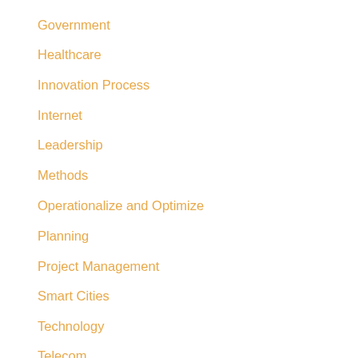Government
Healthcare
Innovation Process
Internet
Leadership
Methods
Operationalize and Optimize
Planning
Project Management
Smart Cities
Technology
Telecom